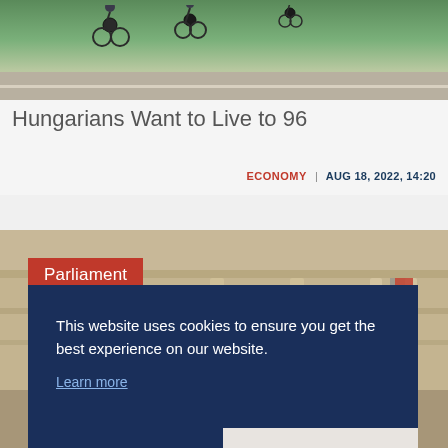[Figure (photo): Cyclists riding on a path with green grass and road in background]
Hungarians Want to Live to 96
ECONOMY | AUG 18, 2022, 14:20
[Figure (photo): Parliament building exterior with ornate stone facade]
Parliament
This website uses cookies to ensure you get the best experience on our website.
Learn more
Decline
Allow cookies